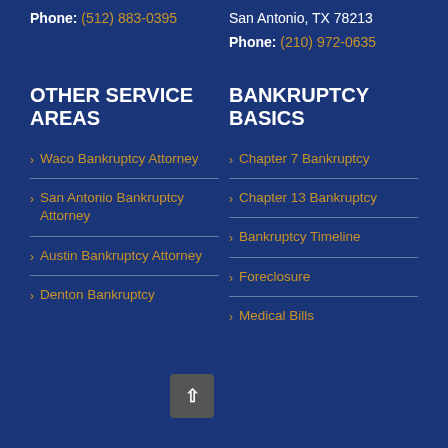Phone: (512) 883-0395
San Antonio, TX 78213
Phone: (210) 972-0635
OTHER SERVICE AREAS
BANKRUPTCY BASICS
Waco Bankruptcy Attorney
Chapter 7 Bankruptcy
San Antonio Bankruptcy Attorney
Chapter 13 Bankruptcy
Austin Bankruptcy Attorney
Bankruptcy Timeline
Foreclosure
Medical Bills
Denton Bankruptcy